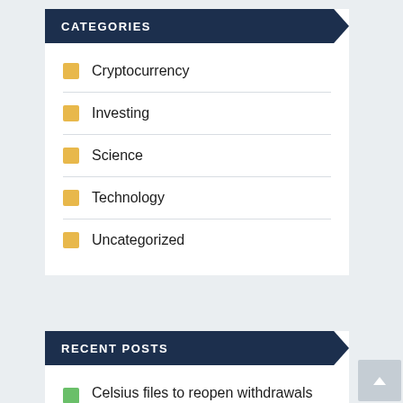CATEGORIES
Cryptocurrency
Investing
Science
Technology
Uncategorized
RECENT POSTS
Celsius files to reopen withdrawals for a minority of customers